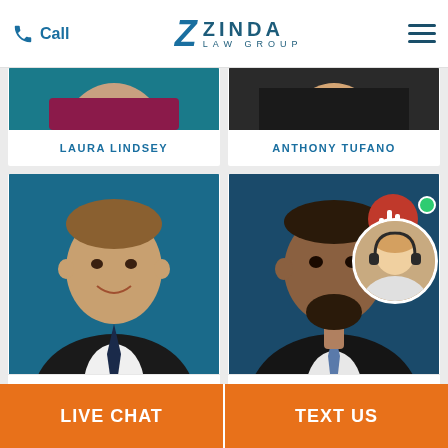Call | ZINDA LAW GROUP
[Figure (photo): Partial photo of Laura Lindsey, cropped at top]
LAURA LINDSEY
[Figure (photo): Partial photo of Anthony Tufano, cropped at top]
ANTHONY TUFANO
[Figure (photo): Professional headshot of Mike Redondo in suit and tie]
OF COUNSEL
MIKE REDONDO
[Figure (photo): Professional headshot of E. Marvin Ro in suit with blue tie]
OF COUNSEL
E. MARVIN RO
[Figure (photo): Live chat widget with red microphone bubble, green dot, and blonde female agent]
LIVE CHAT | TEXT US